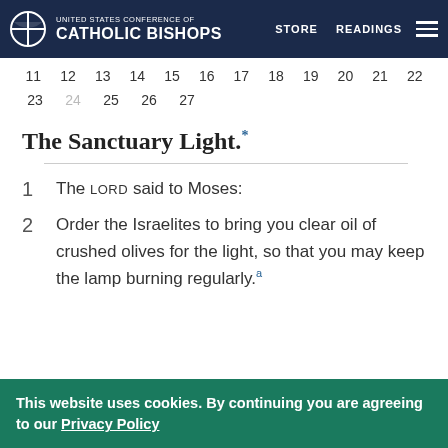UNITED STATES CONFERENCE OF CATHOLIC BISHOPS | STORE | READINGS
11 12 13 14 15 16 17 18 19 20 21 22
23 24 25 26 27
The Sanctuary Light.*
1 The Lord said to Moses:
2 Order the Israelites to bring you clear oil of crushed olives for the light, so that you may keep the lamp burning regularly.a
This website uses cookies. By continuing you are agreeing to our Privacy Policy